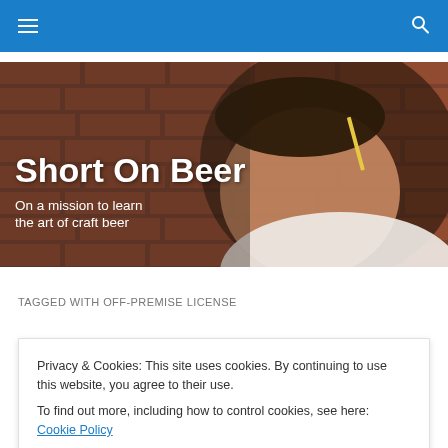Navigation bar with hamburger menu and search icon
[Figure (photo): Hero banner photo of a smiling young man in front of a brick wall with a pencil tucked behind his ear. Overlay text reads 'Short On Beer' and 'On a mission to learn the art of craft beer'.]
Short On Beer
On a mission to learn the art of craft beer
TAGGED WITH OFF-PREMISE LICENSE
Privacy & Cookies: This site uses cookies. By continuing to use this website, you agree to their use.
To find out more, including how to control cookies, see here: Cookie Policy
Close and accept